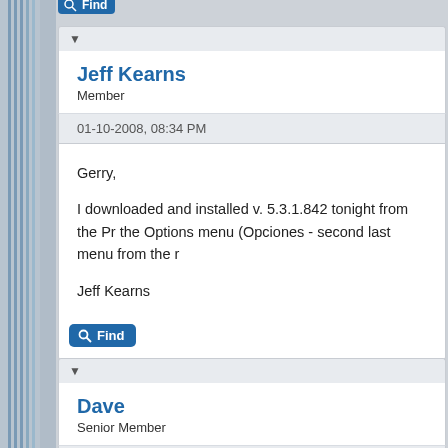[Figure (screenshot): Forum post interface showing a Find button at top, a post by Jeff Kearns (Member) dated 01-10-2008 08:34 PM with message to Gerry about downloading v. 5.3.1.842, a Find button, and start of another post by Dave (Senior Member) dated 01-16-2008 10:58 AM]
Find
Jeff Kearns
Member
01-10-2008, 08:34 PM
Gerry,

I downloaded and installed v. 5.3.1.842 tonight from the Pr... the Options menu (Opciones - second last menu from the r...

Jeff Kearns
Find
Dave
Senior Member
01-16-2008, 10:58 AM